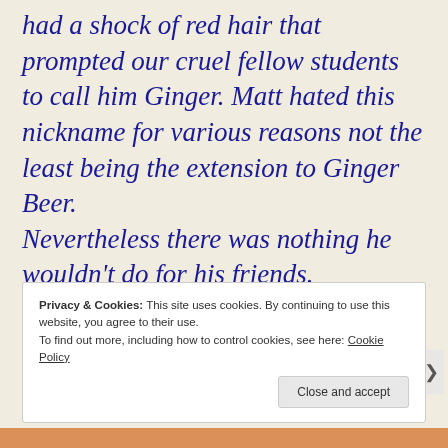had a shock of red hair that prompted our cruel fellow students to call him Ginger. Matt hated this nickname for various reasons not the least being the extension to Ginger Beer. Nevertheless there was nothing he wouldn't do for his friends. Then one fateful day I met Matt in town.
Privacy & Cookies: This site uses cookies. By continuing to use this website, you agree to their use. To find out more, including how to control cookies, see here: Cookie Policy
Close and accept